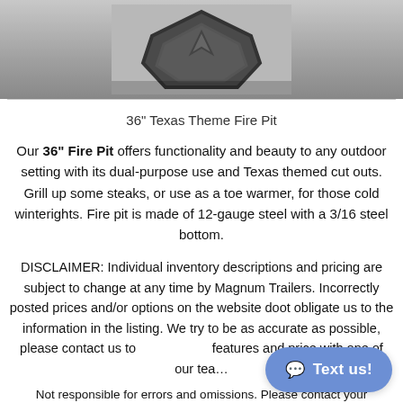[Figure (photo): Top-down photo of a Texas-themed fire pit with star/hexagon cut-out shapes, shown on a gravel surface]
36" Texas Theme Fire Pit
Our 36" Fire Pit offers functionality and beauty to any outdoor setting with its dual-purpose use and Texas themed cut outs. Grill up some steaks, or use as a toe warmer, for those cold winterights. Fire pit is made of 12-gauge steel with a 3/16 steel bottom.
DISCLAIMER: Individual inventory descriptions and pricing are subject to change at any time by Magnum Trailers. Incorrectly posted prices and/or options on the website doot obligate us to the information in the listing. We try to be as accurate as possible, please contact us to verify features and price with one of our tea...
Not responsible for errors and omissions. Please contact your